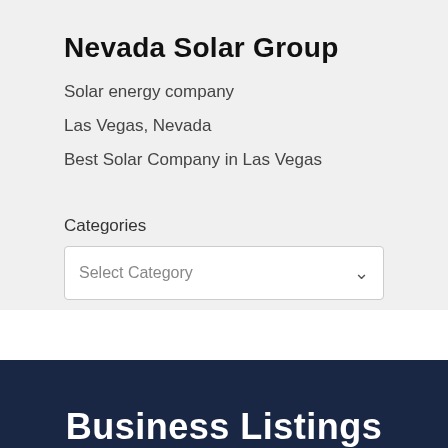Nevada Solar Group
Solar energy company
Las Vegas, Nevada
Best Solar Company in Las Vegas
Categories
Select Category
Business Listings